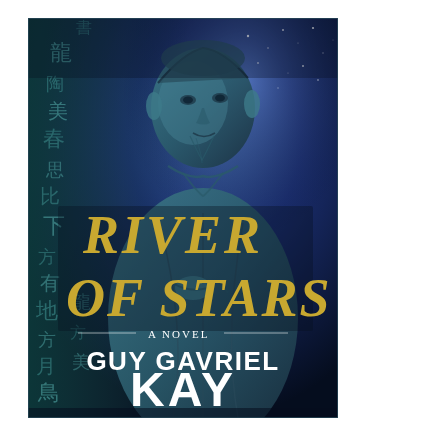[Figure (illustration): Book cover of 'River of Stars: A Novel' by Guy Gavriel Kay. The cover features a stone statue of an East Asian figure (resembling a sage or official) against a deep blue-purple starry background with Chinese calligraphy characters overlaid in teal/dark tones on the left side. The title 'RIVER OF STARS' appears in large gold/yellow serif letters in the center, with 'A NOVEL' in smaller white text flanked by horizontal lines below it. The author name 'GUY GAVRIEL KAY' appears in large white letters near the bottom. At the very bottom, small text reads 'Award-Winning Author of UNDER HEAVEN and YSABEL'.]